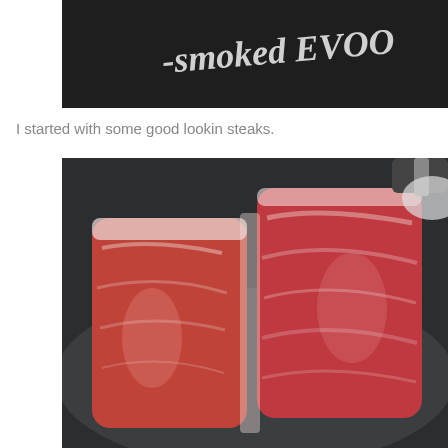[Figure (photo): Chalkboard sign with white handwritten text reading '-smoked EVOO']
I started with some good lookin steaks.
[Figure (photo): Two raw beef steaks placed on a dark round plate or pan, with a knife handle visible in the background. The steaks show marbling and are bright red/pink in color.]